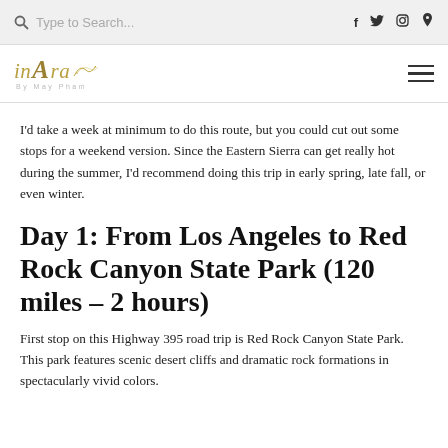Type to Search... [search icon] [social icons: f, twitter, instagram, pinterest]
[Figure (logo): inAra by May Pham logo — stylized italic text in gold/tan with decorative flourish]
I'd take a week at minimum to do this route, but you could cut out some stops for a weekend version. Since the Eastern Sierra can get really hot during the summer, I'd recommend doing this trip in early spring, late fall, or even winter.
Day 1: From Los Angeles to Red Rock Canyon State Park (120 miles – 2 hours)
First stop on this Highway 395 road trip is Red Rock Canyon State Park. This park features scenic desert cliffs and dramatic rock formations in spectacularly vivid colors.